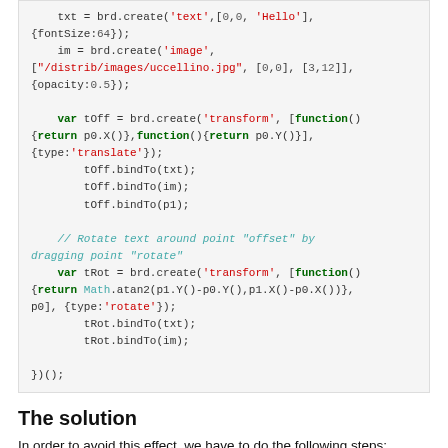txt = brd.create('text',[0,0, 'Hello'],{fontSize:64});
    im = brd.create('image',["/distrib/images/uccellino.jpg", [0,0], [3,12]],{opacity:0.5});

    var tOff = brd.create('transform', [function(){return p0.X()},function(){return p0.Y()}],{type:'translate'});
        tOff.bindTo(txt);
        tOff.bindTo(im);
        tOff.bindTo(p1);

    // Rotate text around point "offset" by dragging point "rotate"
    var tRot = brd.create('transform', [function(){return Math.atan2(p1.Y()-p0.Y(),p1.X()-p0.X())},p0], {type:'rotate'});
        tRot.bindTo(txt);
        tRot.bindTo(im);

})();
The solution
In order to avoid this effect, we have to do the following steps:
The rotation center has to be moved to the origin.
var tOffInv = brd.create('transform',